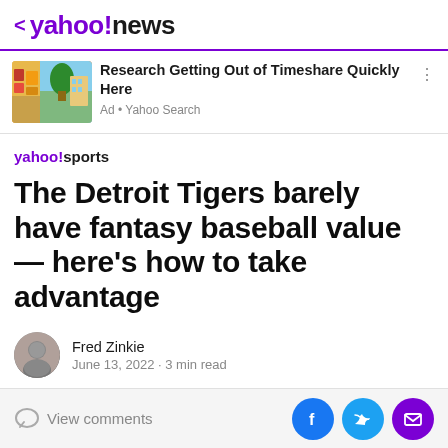< yahoo!news
[Figure (other): Advertisement banner: image of colorful Mediterranean buildings with palm tree, ad title 'Research Getting Out of Timeshare Quickly Here', source 'Ad • Yahoo Search']
yahoo!sports
The Detroit Tigers barely have fantasy baseball value — here's how to take advantage
Fred Zinkie
June 13, 2022 · 3 min read
The Tigers have been a terrific fantasy streaming target
View comments